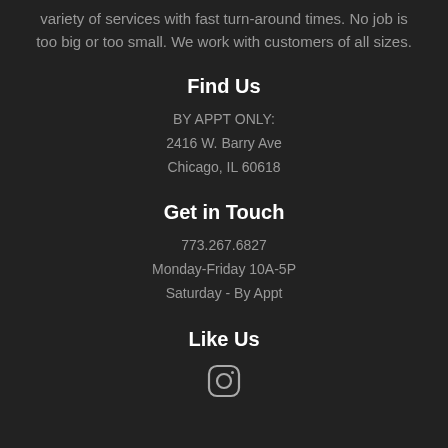variety of services with fast turn-around times. No job is too big or too small. We work with customers of all sizes.
Find Us
BY APPT ONLY:
2416 W. Barry Ave
Chicago, IL 60618
Get in Touch
773.267.6827
Monday-Friday 10A-5P
Saturday - By Appt
Like Us
[Figure (illustration): Instagram icon (rounded square camera outline)]